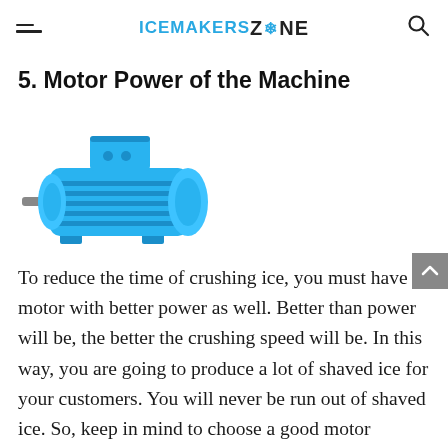ICEMAKERS ZONE
5. Motor Power of the Machine
[Figure (illustration): A blue electric motor illustration, shown in 3/4 perspective view with a mounting base, ventilation fins, and two terminal box bumps on top.]
To reduce the time of crushing ice, you must have a motor with better power as well. Better than power will be, the better the crushing speed will be. In this way, you are going to produce a lot of shaved ice for your customers. You will never be run out of shaved ice. So, keep in mind to choose a good motor